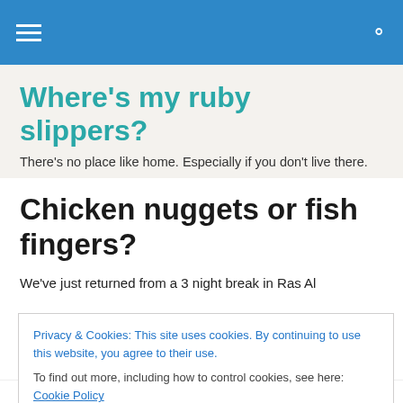Navigation bar with hamburger menu and search icon
Where's my ruby slippers?
There's no place like home. Especially if you don't live there.
Chicken nuggets or fish fingers?
We've just returned from a 3 night break in Ras Al
Privacy & Cookies: This site uses cookies. By continuing to use this website, you agree to their use.
To find out more, including how to control cookies, see here: Cookie Policy
And that just as we both finally dropped off each night, our